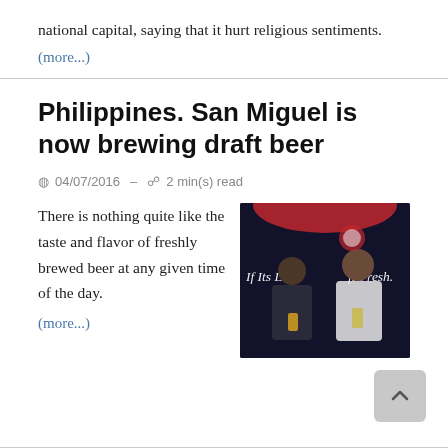national capital, saying that it hurt religious sentiments.
(more...)
Philippines. San Miguel is now brewing draft beer
04/07/2016 – 2 min(s) read
[Figure (photo): Two people posing at a San Miguel draft beer event, with a dark backdrop showing text 'If Its Dra[ft] [It's] Fresh.']
There is nothing quite like the taste and flavor of freshly brewed beer at any given time of the day.
(more...)